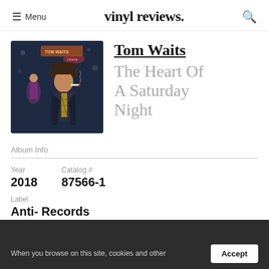≡ Menu   vinyl reviews.   🔍
[Figure (illustration): Album cover art for Tom Waits - The Heart of a Saturday Night showing a painted illustration of a man in a hat and striped tie with a woman in background, dark bar scene]
Tom Waits
The Heart Of A Saturday Night
Album Info
| Year | Catalog # |
| --- | --- |
| 2018 | 87566-1 |
Label
Anti- Records
When you browse on this site, cookies and other